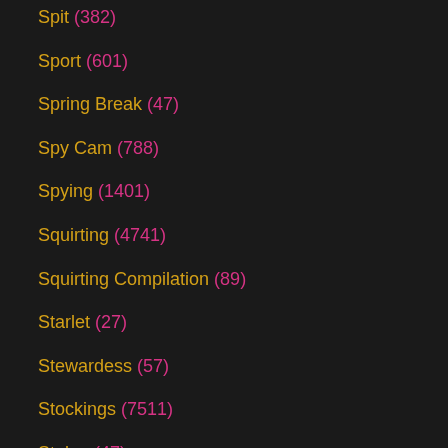Spit (382)
Sport (601)
Spring Break (47)
Spy Cam (788)
Spying (1401)
Squirting (4741)
Squirting Compilation (89)
Starlet (27)
Stewardess (57)
Stockings (7511)
Stolen (47)
Store (242)
Story (326)
Stranger (717)
Strap-on (2584)
Strap-on Femdom (1141)